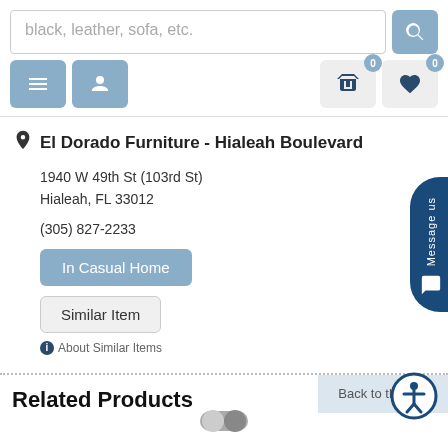[Figure (screenshot): Search bar with placeholder text 'black, leather, sofa, etc.' and a blue search button with magnifier icon]
[Figure (screenshot): Navigation row with hamburger menu button, user/profile button, cart button with badge 0, and wishlist/heart button with badge 0]
El Dorado Furniture - Hialeah Boulevard
1940 W 49th St (103rd St)
Hialeah, FL 33012
(305) 827-2233
In Casual Home
Similar Item
About Similar Items
Message us
Related Products
Back to the Top